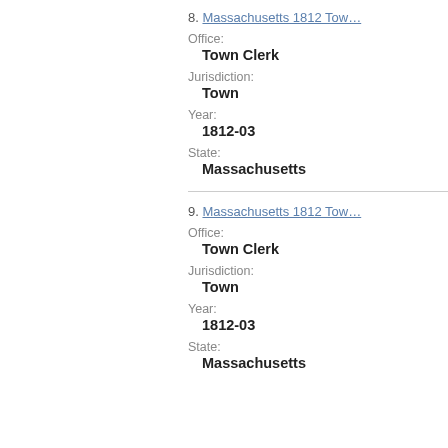8. Massachusetts 1812 Town Clerk Office: Town Clerk Jurisdiction: Town Year: 1812-03 State: Massachusetts
9. Massachusetts 1812 Town Clerk Office: Town Clerk Jurisdiction: Town Year: 1812-03 State: Massachusetts